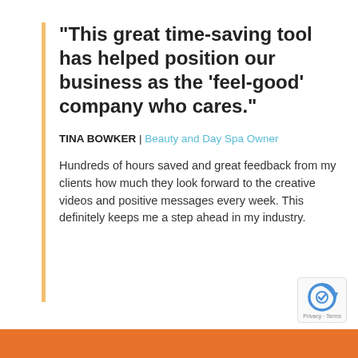“This great time-saving tool has helped position our business as the ‘feel-good’ company who cares.”
TINA BOWKER | Beauty and Day Spa Owner
Hundreds of hours saved and great feedback from my clients how much they look forward to the creative videos and positive messages every week. This definitely keeps me a step ahead in my industry.
[Figure (logo): reCAPTCHA logo badge with Privacy and Terms text]